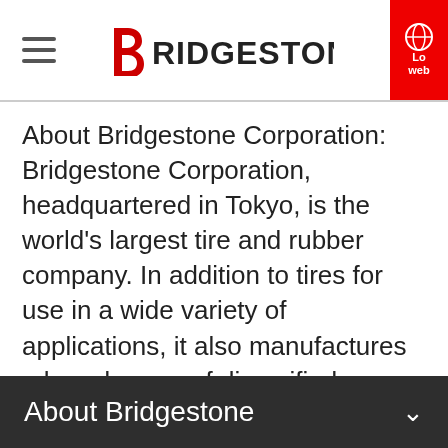Bridgestone (logo)
About Bridgestone Corporation: Bridgestone Corporation, headquartered in Tokyo, is the world's largest tire and rubber company. In addition to tires for use in a wide variety of applications, it also manufactures a broad range of diversified products, which include industrial rubber and chemical products and sporting goods. Its products are sold in over 150 nations and territories around the world.
About Bridgestone